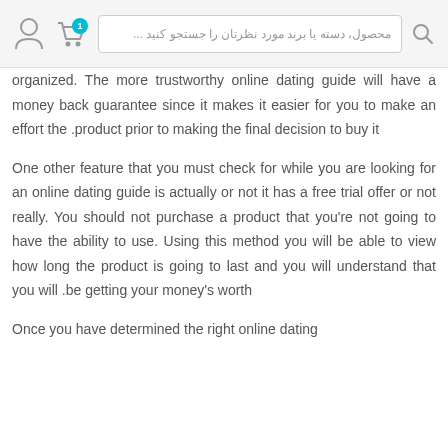محصول، دسته یا برند مورد نظرتان را جستجو کنید ...
organized. The more trustworthy online dating guide will have a money back guarantee since it makes it easier for you to make an effort the product prior to making the final decision to buy it.
One other feature that you must check for while you are looking for an online dating guide is actually or not it has a free trial offer or not really. You should not purchase a product that you're not going to have the ability to use. Using this method you will be able to view how long the product is going to last and you will understand that you will be getting your money's worth.
Once you have determined the right online dating